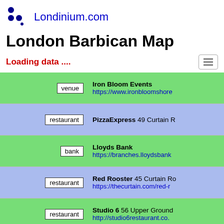Londinium.com
London Barbican Map
Loading data ....
| type | name / url |
| --- | --- |
| venue | Iron Bloom Events
https://www.ironbloomshore... |
| restaurant | PizzaExpress 49 Curtain R... |
| bank | Lloyds Bank
https://branches.lloydsbank... |
| restaurant | Red Rooster 45 Curtain Ro...
https://thecurtain.com/red-r... |
| restaurant | Studio 6 56 Upper Ground...
http://studio6restaurant.co... |
| fast food | Wrap It Up 85-87 Borough... |